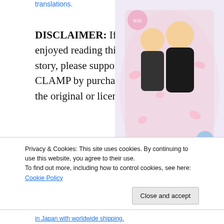translations.
DISCLAIMER: If you enjoyed reading this story, please support CLAMP by purchasing the original or licensed
[Figure (illustration): Manga book cover illustration for Cardcaptor Sakura featuring anime characters with pink sakura blossoms]
© CLAMP・Shigatsu Tsuitachi CO.,LTD.／講談社
Privacy & Cookies: This site uses cookies. By continuing to use this website, you agree to their use.
To find out more, including how to control cookies, see here: Cookie Policy
Close and accept
in Japan with worldwide shipping.